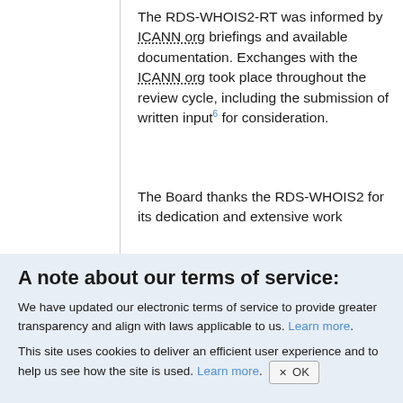The RDS-WHOIS2-RT was informed by ICANN org briefings and available documentation. Exchanges with the ICANN org took place throughout the review cycle, including the submission of written input⁶ for consideration.
The Board thanks the RDS-WHOIS2 for its dedication and extensive work
A note about our terms of service:
We have updated our electronic terms of service to provide greater transparency and align with laws applicable to us. Learn more.
This site uses cookies to deliver an efficient user experience and to help us see how the site is used. Learn more. × OK